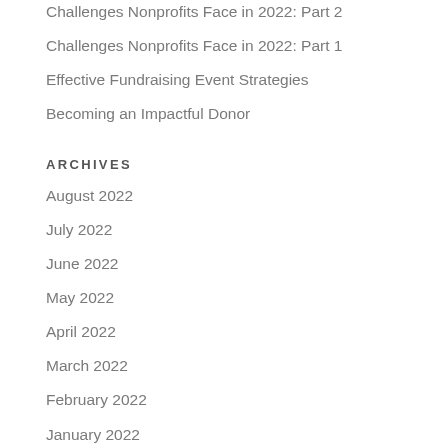Challenges Nonprofits Face in 2022: Part 2
Challenges Nonprofits Face in 2022: Part 1
Effective Fundraising Event Strategies
Becoming an Impactful Donor
ARCHIVES
August 2022
July 2022
June 2022
May 2022
April 2022
March 2022
February 2022
January 2022
December 2021
November 2021